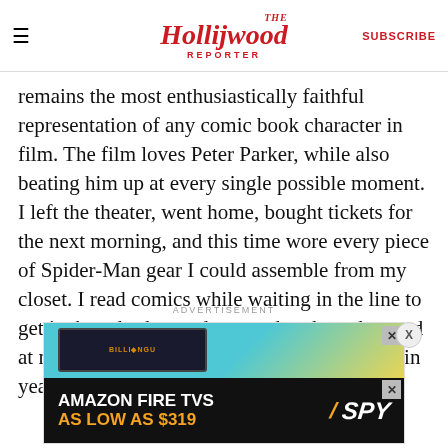The Hollywood Reporter — SUBSCRIBE
remains the most enthusiastically faithful representation of any comic book character in film. The film loves Peter Parker, while also beating him up at every single possible moment. I left the theater, went home, bought tickets for the next morning, and this time wore every piece of Spider-Man gear I could assemble from my closet. I read comics while waiting in the line to get in, bought the catchy soundtrack, and cursed at myself for not getting onboard this hype train years earlier.
ADVERTISEMENT
[Figure (screenshot): Amazon Fire TVs As Low As $319 advertisement banner with SPY logo, showing a tablet device against a teal and yellow background]